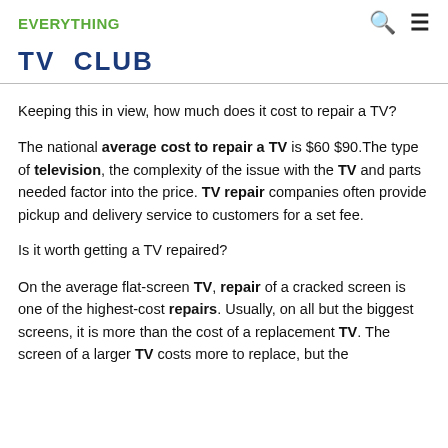EVERYTHING
TV CLUB
Keeping this in view, how much does it cost to repair a TV?
The national average cost to repair a TV is $60 $90.The type of television, the complexity of the issue with the TV and parts needed factor into the price. TV repair companies often provide pickup and delivery service to customers for a set fee.
Is it worth getting a TV repaired?
On the average flat-screen TV, repair of a cracked screen is one of the highest-cost repairs. Usually, on all but the biggest screens, it is more than the cost of a replacement TV. The screen of a larger TV costs more to replace, but the